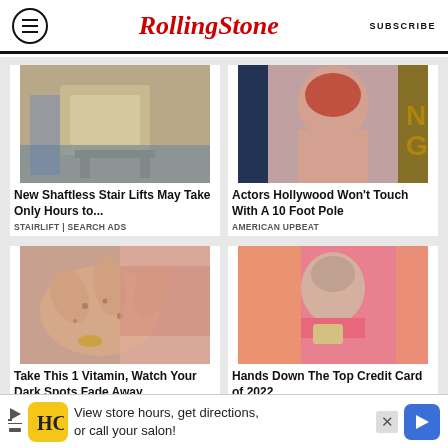RollingStone | SUBSCRIBE
[Figure (photo): Photo of a stair lift chair]
New Shaftless Stair Lifts May Take Only Hours to...
STAIRLIFT | SEARCH ADS
[Figure (photo): Photo of a red-haired actress at an event]
Actors Hollywood Won't Touch With A 10 Foot Pole
AMERICAN UPBEAT
[Figure (photo): Close-up photo of elderly hands with dark spots]
Take This 1 Vitamin, Watch Your Dark Spots Fade Away
[Figure (photo): Photo of a young woman holding a credit card]
Hands Down The Top Credit Card of 2022
View store hours, get directions, or call your salon!